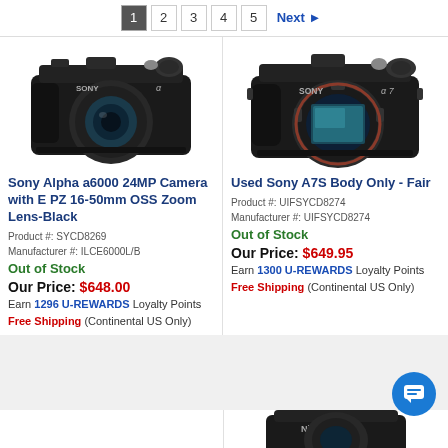1 2 3 4 5 Next
[Figure (photo): Sony Alpha a6000 mirrorless camera with lens, black body, viewed from front-left angle]
Sony Alpha a6000 24MP Camera with E PZ 16-50mm OSS Zoom Lens-Black
Product #: SYCD8269
Manufacturer #: ILCE6000L/B
Out of Stock
Our Price: $648.00
Earn 1296 U-REWARDS Loyalty Points
Free Shipping (Continental US Only)
[Figure (photo): Used Sony A7S mirrorless camera body only (no lens), black, viewed from front]
Used Sony A7S Body Only - Fair
Product #: UIFSYCD8274
Manufacturer #: UIFSYCD8274
Out of Stock
Our Price: $649.95
Earn 1300 U-REWARDS Loyalty Points
Free Shipping (Continental US Only)
[Figure (photo): Partial view of a Nikon camera at bottom of page]